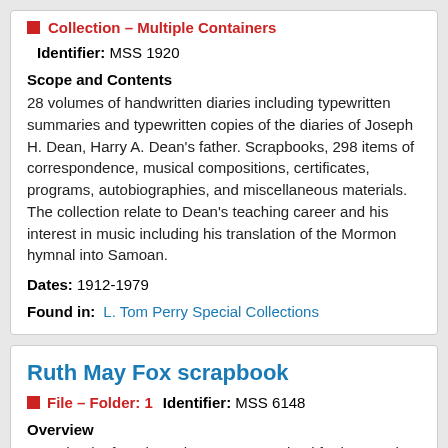Collection — Multiple Containers
Identifier: MSS 1920
Scope and Contents
28 volumes of handwritten diaries including typewritten summaries and typewritten copies of the diaries of Joseph H. Dean, Harry A. Dean's father. Scrapbooks, 298 items of correspondence, musical compositions, certificates, programs, autobiographies, and miscellaneous materials. The collection relate to Dean's teaching career and his interest in music including his translation of the Mormon hymnal into Samoan.
Dates: 1912-1979
Found in: L. Tom Perry Special Collections
Ruth May Fox scrapbook
File — Folder: 1   Identifier: MSS 6148
Overview
Scrapbook of cards Ruth May Fox received for her 100th birthday.